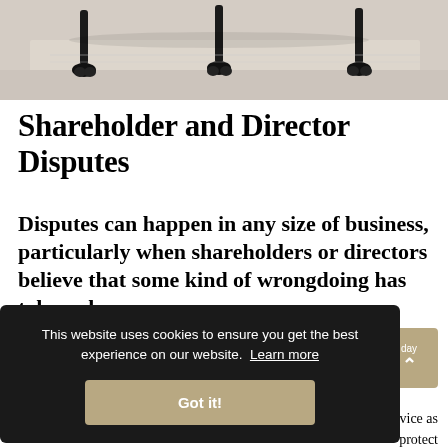[Figure (photo): Partial photo of an office chair with black legs/casters visible against a light floor, cropped at top of page]
Shareholder and Director Disputes
Disputes can happen in any size of business, particularly when shareholders or directors believe that some kind of wrongdoing has taken place.
This website uses cookies to ensure you get the best experience on our website. Learn more
Got it!
dvice as protect
the value of your business assets.